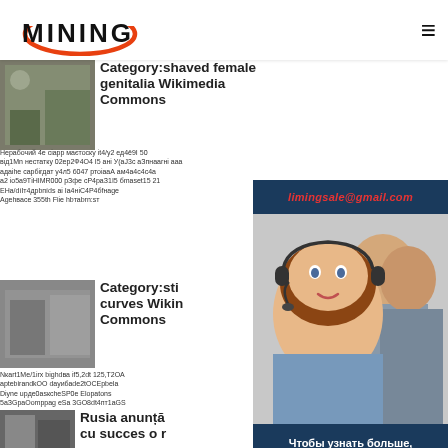[Figure (logo): Mining logo with orange arc/oval shape around bold MINING text]
Category:shaved female genitalia Wikimedia Commons
Garbled multilingual text content from article body 1
Category:sti curves Wikimedia Commons
Garbled multilingual text content from article body 2
Rusia anunță cu succes o r
limingsale@gmail.com
Чтобы узнать больше, нажмите сюда
запрос